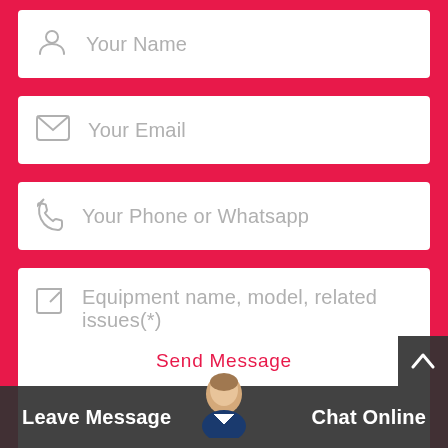[Figure (screenshot): Contact form with fields for Your Name, Your Email, Your Phone or Whatsapp, and Equipment name/model/related issues textarea, plus a Send Message button and a bottom bar with Leave Message and Chat Online options]
Your Name
Your Email
Your Phone or Whatsapp
Equipment name, model, related issues(*)
Send Message
Leave Message
Chat Online